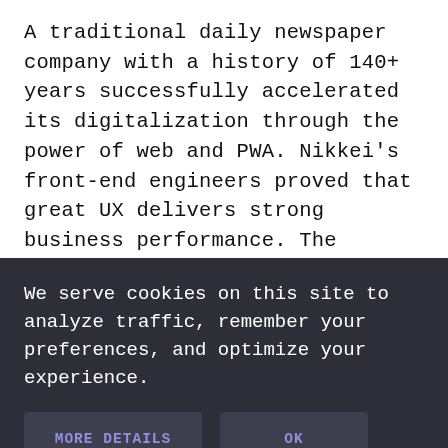A traditional daily newspaper company with a history of 140+ years successfully accelerated its digitalization through the power of web and PWA. Nikkei's front-end engineers proved that great UX delivers strong business performance. The company will continue its journey of bringing a new level of quality to the web.
We serve cookies on this site to analyze traffic, remember your preferences, and optimize your experience.
MORE DETAILS
OK